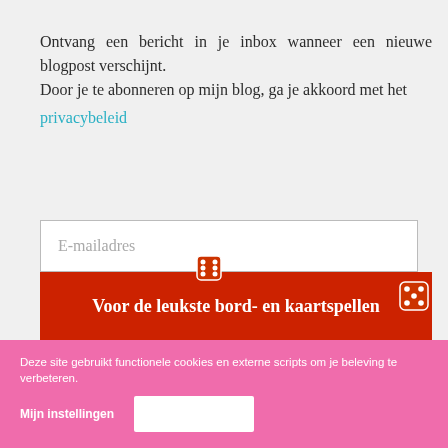Ontvang een bericht in je inbox wanneer een nieuwe blogpost verschijnt.
Door je te abonneren op mijn blog, ga je akkoord met het privacybeleid
[Figure (screenshot): Email input field with placeholder text 'E-mailadres']
[Figure (screenshot): Dark rounded button labeled 'Abonneren']
[Figure (screenshot): Red banner with white bold text 'Voor de leukste bord- en kaartspellen' and dice emoji icons]
Deze site gebruikt functionele cookies en externe scripts om je beleving te verbeteren.
Mijn instellingen